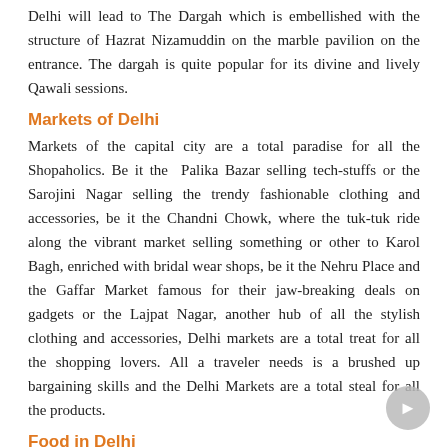Delhi will lead to The Dargah which is embellished with the structure of Hazrat Nizamuddin on the marble pavilion on the entrance. The dargah is quite popular for its divine and lively Qawali sessions.
Markets of Delhi
Markets of the capital city are a total paradise for all the Shopaholics. Be it the Palika Bazar selling tech-stuffs or the Sarojini Nagar selling the trendy fashionable clothing and accessories, be it the Chandni Chowk, where the tuk-tuk ride along the vibrant market selling something or other to Karol Bagh, enriched with bridal wear shops, be it the Nehru Place and the Gaffar Market famous for their jaw-breaking deals on gadgets or the Lajpat Nagar, another hub of all the stylish clothing and accessories, Delhi markets are a total treat for all the shopping lovers. All a traveler needs is a brushed up bargaining skills and the Delhi Markets are a total steal for all the products.
Food in Delhi
The lip-smacking flavors of Delhi food need no introduction. The